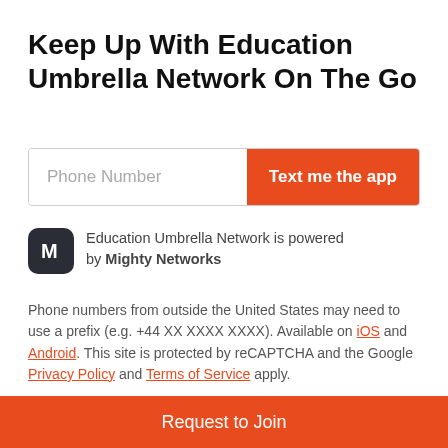Keep Up With Education Umbrella Network On The Go
[Figure (screenshot): Phone number input field with placeholder 'Phone Number' and orange 'Text me the app' button]
Education Umbrella Network is powered by Mighty Networks
Phone numbers from outside the United States may need to use a prefix (e.g. +44 XX XXXX XXXX). Available on iOS and Android. This site is protected by reCAPTCHA and the Google Privacy Policy and Terms of Service apply.
Request to Join